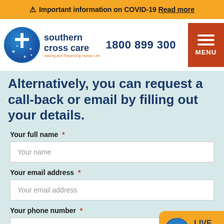⚠ Important information on COVID-19 Read more
[Figure (logo): Southern Cross Care logo with circular blue globe emblem and orange tagline 'Valuing and Respecting Human Life']
1800 899 300
MENU
Alternatively, you can request a call-back or email by filling out your details.
Your full name *
Your name
Your email address *
Your email address
Your phone number *
Your phone number
LIVE CHAT